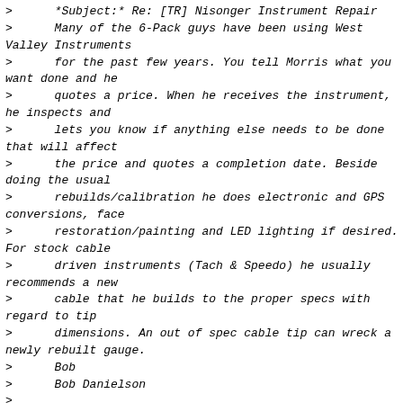>      *Subject:* Re: [TR] Nisonger Instrument Repair
>      Many of the 6-Pack guys have been using West Valley Instruments
>      for the past few years. You tell Morris what you want done and he
>      quotes a price. When he receives the instrument, he inspects and
>      lets you know if anything else needs to be done that will affect
>      the price and quotes a completion date. Beside doing the usual
>      rebuilds/calibration he does electronic and GPS conversions, face
>      restoration/painting and LED lighting if desired. For stock cable
>      driven instruments (Tach & Speedo) he usually recommends a new
>      cable that he builds to the proper specs with regard to tip
>      dimensions. An out of spec cable tip can wreck a newly rebuilt gauge.
>      Bob
>      Bob Danielson
>
http://tr6.danielsonfamily.org/PanelBootSales1.htm
>      Custom Interiors & Boot Covers
>      http://tr6.danielsonfamily.org/FenderBlanket.htm
>      Fender Blankets
>      ------------------------------------------
-------------------------